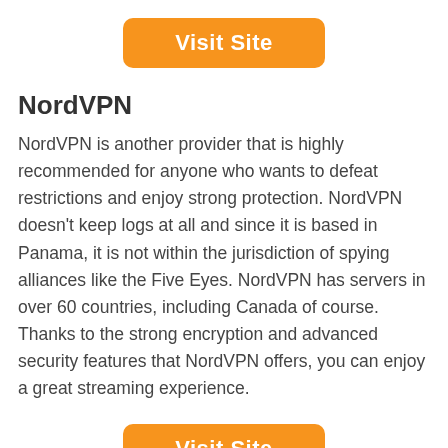[Figure (other): Orange 'Visit Site' button at top center]
NordVPN
NordVPN is another provider that is highly recommended for anyone who wants to defeat restrictions and enjoy strong protection. NordVPN doesn't keep logs at all and since it is based in Panama, it is not within the jurisdiction of spying alliances like the Five Eyes. NordVPN has servers in over 60 countries, including Canada of course. Thanks to the strong encryption and advanced security features that NordVPN offers, you can enjoy a great streaming experience.
[Figure (other): Orange 'Visit Site' button at bottom center]